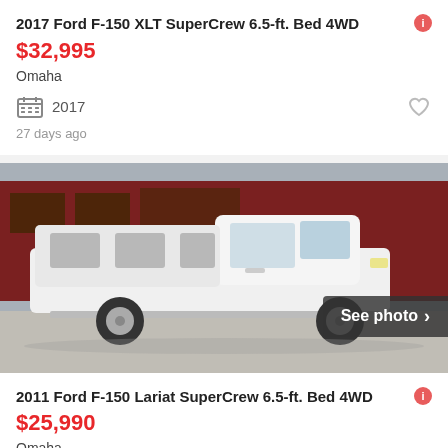2017 Ford F-150 XLT SuperCrew 6.5-ft. Bed 4WD
$32,995
Omaha
2017
27 days ago
[Figure (photo): White 2011 Ford F-150 pickup truck with a white cap/topper on the bed, parked in front of a red building, side profile view. Button overlay reads 'See photo >']
2011 Ford F-150 Lariat SuperCrew 6.5-ft. Bed 4WD
$25,990
Omaha